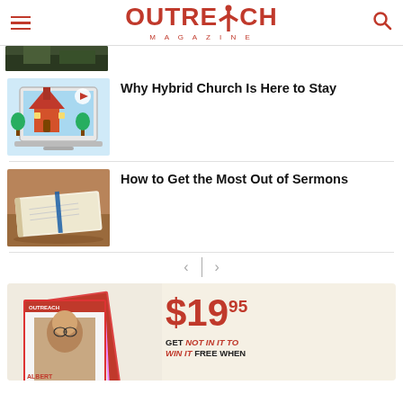Outreach Magazine
[Figure (photo): Partial thumbnail image at top left, dark/forest tones]
[Figure (illustration): Illustration of a church building displayed on a laptop/tablet screen with play button, colorful cartoon style]
Why Hybrid Church Is Here to Stay
[Figure (photo): Photo of an open Bible on a wooden table with a blue ribbon bookmark]
How to Get the Most Out of Sermons
[Figure (infographic): Advertisement for Outreach Magazine subscription: $19.95, GET NOT IN IT TO WIN IT FREE WHEN, showing stacked magazine covers with Albert Tate on cover]